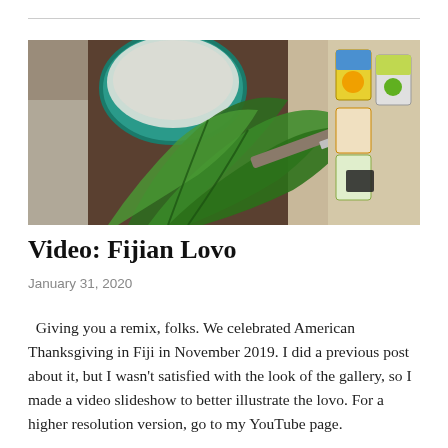[Figure (photo): A photograph showing a teal/green bowl with white liquid (likely coconut cream) alongside large green tropical leaves and a knife, placed on a wooden surface with some colorful seed packets visible in the background.]
Video: Fijian Lovo
January 31, 2020
Giving you a remix, folks. We celebrated American Thanksgiving in Fiji in November 2019. I did a previous post about it, but I wasn't satisfied with the look of the gallery, so I made a video slideshow to better illustrate the lovo. For a higher resolution version, go to my YouTube page.